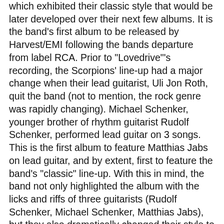which exhibited their classic style that would be later developed over their next few albums. It is the band's first album to be released by Harvest/EMI following the bands departure from label RCA. Prior to "Lovedrive"'s recording, the Scorpions' line-up had a major change when their lead guitarist, Uli Jon Roth, quit the band (not to mention, the rock genre was rapidly changing). Michael Schenker, younger brother of rhythm guitarist Rudolf Schenker, performed lead guitar on 3 songs. This is the first album to feature Matthias Jabs on lead guitar, and by extent, first to feature the band's "classic" line-up. With this in mind, the band not only highlighted the album with the licks and riffs of three guitarists (Rudolf Schenker, Michael Schenker, Matthias Jabs), but they also dramatically changed their style to sound more like that of Van Halen. This change is quite welcome; not only are the performances more unpredictable, but the lyrics and melodies are better written. In fact, some of the Scorpions' best songs, such as "Loving You Sunday Morning", "Holiday" and "Coast to Coast" are found here, making it one of their finest.
"Lovedrive" reached No. 55 on the US charts...